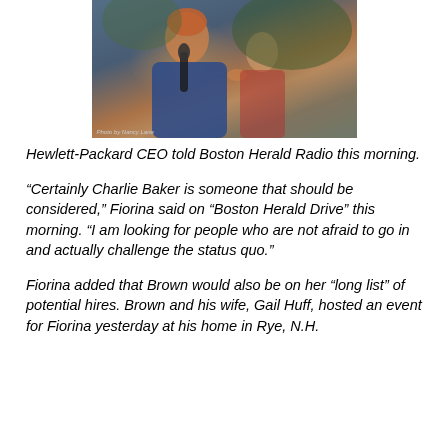[Figure (photo): Woman with short reddish hair speaking into a microphone, wearing blue, with a man in a red polo shirt visible behind her. Photo credit: Nancy Lane]
Hewlett-Packard CEO told Boston Herald Radio this morning.
“Certainly Charlie Baker is someone that should be considered,” Fiorina said on “Boston Herald Drive” this morning. “I am looking for people who are not afraid to go in and actually challenge the status quo.”
Fiorina added that Brown would also be on her “long list” of potential hires. Brown and his wife, Gail Huff, hosted an event for Fiorina yesterday at his home in Rye, N.H.